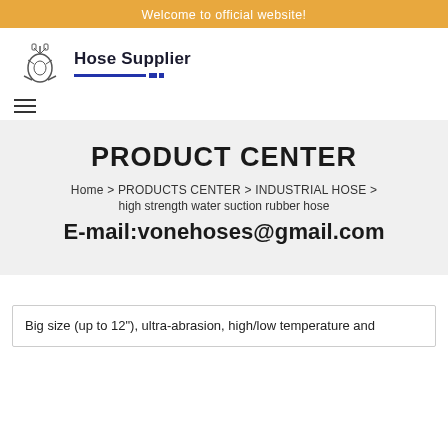Welcome to official website!
[Figure (logo): Hose Supplier logo with industrial hose equipment icon and text 'Hose Supplier' with blue underline]
PRODUCT CENTER
Home > PRODUCTS CENTER > INDUSTRIAL HOSE > high strength water suction rubber hose
E-mail:vonehoses@gmail.com
Big size (up to 12"), ultra-abrasion, high/low temperature and